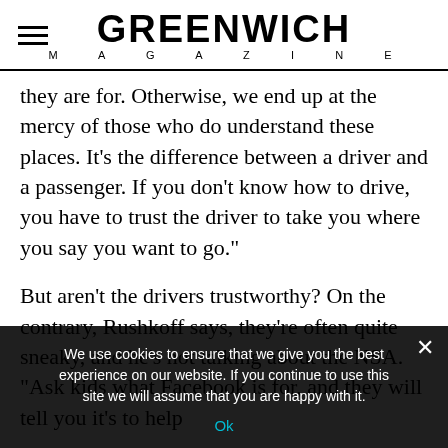GREENWICH MAGAZINE
they are for. Otherwise, we end up at the mercy of those who do understand these places. It’s the difference between a driver and a passenger. If you don’t know how to drive, you have to trust the driver to take you where you say you want to go.”
But aren’t the drivers trustworthy? On the contrary, Rushkoff says, they’re often quite sneaky, and he’s not talking about the NSA. “Ask kids what Facebook is for, and they will tell you it’s to help
We use cookies to ensure that we give you the best experience on our website. If you continue to use this site we will assume that you are happy with it.
Ok